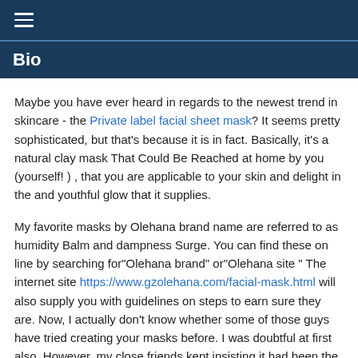≡
Bio
Maybe you have ever heard in regards to the newest trend in skincare - the Private label facial sheet mask? It seems pretty sophisticated, but that's because it is in fact. Basically, it's a natural clay mask That Could Be Reached at home by you (yourself! ) , that you are applicable to your skin and delight in the and youthful glow that it supplies.
My favorite masks by Olehana brand name are referred to as humidity Balm and dampness Surge. You can find these on line by searching for"Olehana brand" or"Olehana site " The internet site https://www.gzolehana.com/facial-mask.html will also supply you with guidelines on steps to earn sure they are. Now, I actually don't know whether some of those guys have tried creating your masks before. I was doubtful at first also. However, my close friends kept insisting it had been the best thing that had happened for themso I gave it a shot.
My outcome have been, as I hoped, really great! The sprays